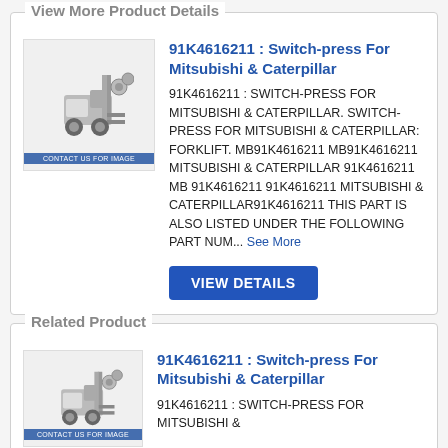View More Product Details
[Figure (photo): Forklift parts product image with 'CONTACT US FOR IMAGE' label]
91K4616211 : Switch-press For Mitsubishi & Caterpillar
91K4616211 : SWITCH-PRESS FOR MITSUBISHI & CATERPILLAR. SWITCH-PRESS FOR MITSUBISHI & CATERPILLAR: FORKLIFT. MB91K4616211 MB91K4616211 MITSUBISHI & CATERPILLAR 91K4616211 MB 91K4616211 91K4616211 MITSUBISHI & CATERPILLAR91K4616211 THIS PART IS ALSO LISTED UNDER THE FOLLOWING PART NUM... See More
VIEW DETAILS
Related Product
[Figure (photo): Forklift parts product image with 'CONTACT US FOR IMAGE' label]
91K4616211 : Switch-press For Mitsubishi & Caterpillar
91K4616211 : SWITCH-PRESS FOR MITSUBISHI &